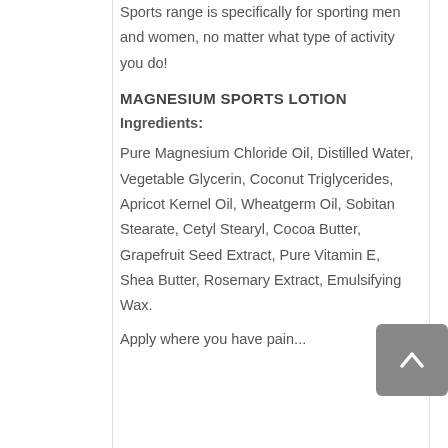Sports range is specifically for sporting men and women, no matter what type of activity you do!
MAGNESIUM SPORTS LOTION
Ingredients:
Pure Magnesium Chloride Oil, Distilled Water, Vegetable Glycerin, Coconut Triglycerides, Apricot Kernel Oil, Wheatgerm Oil, Sobitan Stearate, Cetyl Stearyl, Cocoa Butter, Grapefruit Seed Extract, Pure Vitamin E, Shea Butter, Rosemary Extract, Emulsifying Wax.
Apply where you have pain...